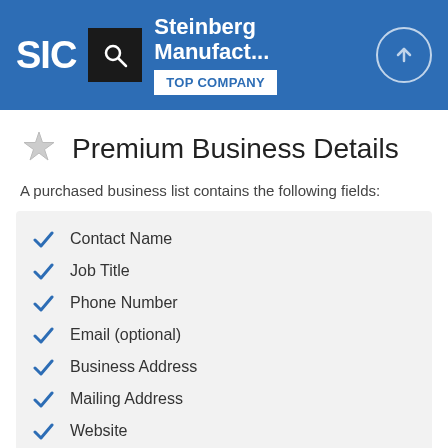SIC | Steinberg Manufact... | TOP COMPANY
Premium Business Details
A purchased business list contains the following fields:
Contact Name
Job Title
Phone Number
Email (optional)
Business Address
Mailing Address
Website
Latitude / Longitude
Modeled Credit Rating
Square Footage